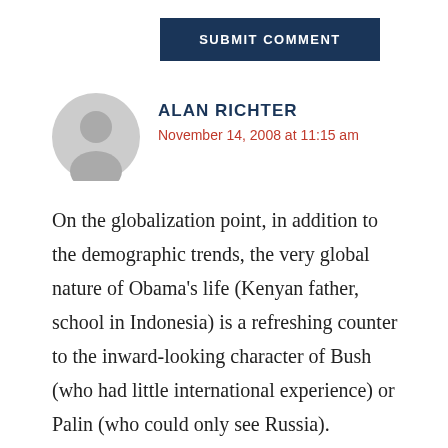[Figure (other): Submit Comment button — dark navy rectangle with white bold uppercase text 'SUBMIT COMMENT']
ALAN RICHTER
November 14, 2008 at 11:15 am
On the globalization point, in addition to the demographic trends, the very global nature of Obama's life (Kenyan father, school in Indonesia) is a refreshing counter to the inward-looking character of Bush (who had little international experience) or Palin (who could only see Russia).